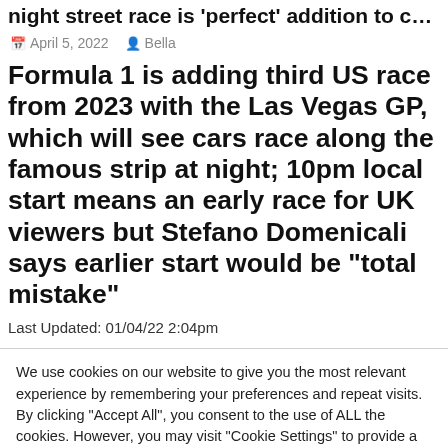night street race is 'perfect' addition to calendar
April 5, 2022   Bella
Formula 1 is adding third US race from 2023 with the Las Vegas GP, which will see cars race along the famous strip at night; 10pm local start means an early race for UK viewers but Stefano Domenicali says earlier start would be "total mistake"
Last Updated: 01/04/22 2:04pm
We use cookies on our website to give you the most relevant experience by remembering your preferences and repeat visits. By clicking “Accept All”, you consent to the use of ALL the cookies. However, you may visit “Cookie Settings” to provide a controlled consent.